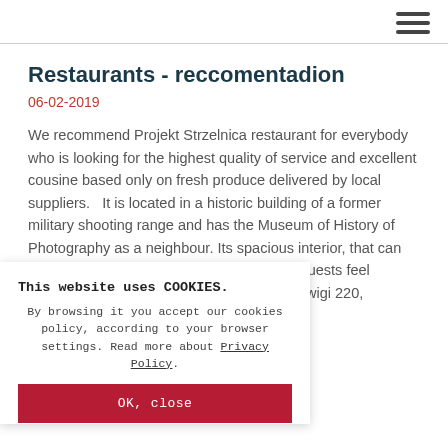☰ (hamburger menu icon)
Restaurants - reccomentadion
06-02-2019
We recommend Projekt Strzelnica restaurant for everybody who is looking for the highest quality of service and excellent cousine based only on fresh produce delivered by local suppliers.   It is located in a historic building of a former military shooting range and has the Museum of History of Photography as a neighbour. Its spacious interior, that can accomodate big families and …so all the guests feel …nting to return.    Projekt …Królowej Jadwigi 220,
This website uses COOKIES.
By browsing it you accept our cookies policy, according to your browser settings. Read more about Privacy Policy.
OK, close